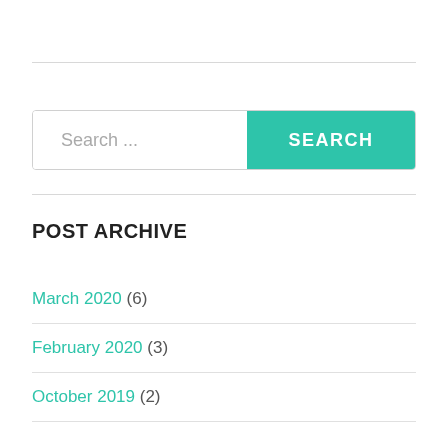[Figure (other): Search input field with placeholder 'Search ...' and a teal SEARCH button on the right]
POST ARCHIVE
March 2020 (6)
February 2020 (3)
October 2019 (2)